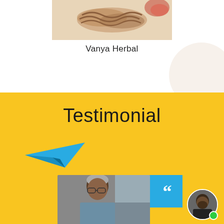[Figure (photo): Product image of Vanya Herbal item at the top of the page]
Vanya Herbal
[Figure (illustration): Yellow background section with Testimonial heading, a blue paper plane icon, a photo of an elderly man, and a blue quote box with opening quotation marks]
Testimonial